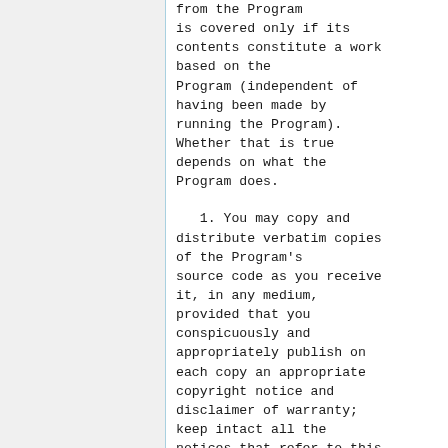from the Program is covered only if its contents constitute a work based on the Program (independent of having been made by running the Program). Whether that is true depends on what the Program does.
1. You may copy and distribute verbatim copies of the Program's source code as you receive it, in any medium, provided that you conspicuously and appropriately publish on each copy an appropriate copyright notice and disclaimer of warranty; keep intact all the notices that refer to this License and to the absence of any warranty;